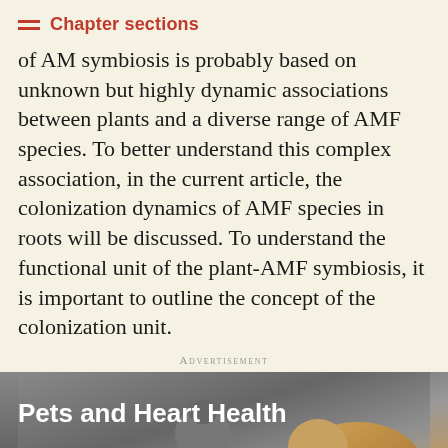Chapter sections
of AM symbiosis is probably based on unknown but highly dynamic associations between plants and a diverse range of AMF species. To better understand this complex association, in the current article, the colonization dynamics of AMF species in roots will be discussed. To understand the functional unit of the plant-AMF symbiosis, it is important to outline the concept of the colonization unit.
Advertisement
[Figure (photo): Advertisement image showing a person with a dog, titled 'Pets and Heart Health']